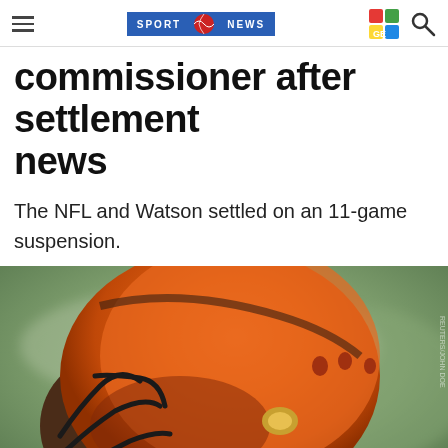SPORT WORLD NEWS
commissioner after settlement news
The NFL and Watson settled on an 11-game suspension.
[Figure (photo): Close-up of a football player wearing an orange Cleveland Browns helmet with dark face mask, chin strap visible, looking to the side against a blurred green/gray background.]